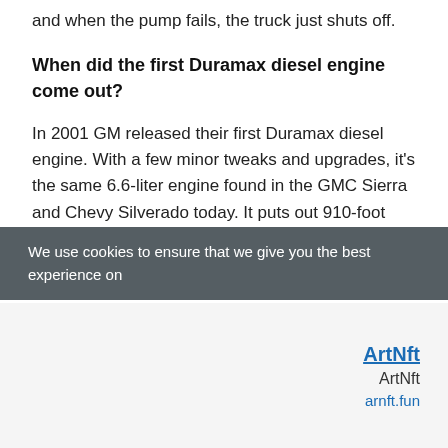and when the pump fails, the truck just shuts off.
When did the first Duramax diesel engine come out?
In 2001 GM released their first Duramax diesel engine. With a few minor tweaks and upgrades, it's the same 6.6-liter engine found in the GMC Sierra and Chevy Silverado today. It puts out 910-foot pounds of torque, making it one of the most powerful diesel engines on the market.
We use cookies to ensure that we give you the best experience on
ArtNft
ArtNft
arnft.fun